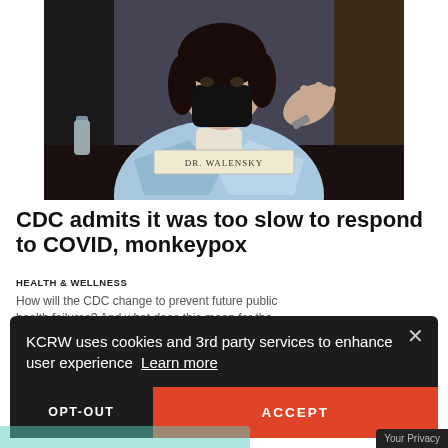[Figure (photo): Photo of Dr. Walensky wearing a black mask and light blue jacket, gesturing with hand at a hearing or press event. A nameplate reading 'DR. WALENSKY' is visible in front of her.]
CDC admits it was too slow to respond to COVID, monkeypox
HEALTH & WELLNESS
How will the CDC change to prevent future public health failures? And what does this mean for the monkeypox outbreaks and vaccine availability?
Aug. 18  |  from Press Play with Madeleine Brand
KCRW uses cookies and 3rd party services to enhance user experience  Learn more
OPT-OUT    ACCEPT
Your Privacy